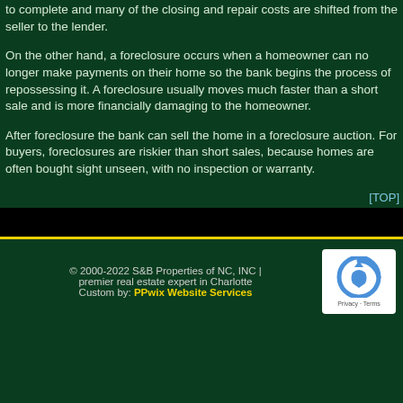to complete and many of the closing and repair costs are shifted from the seller to the lender.
On the other hand, a foreclosure occurs when a homeowner can no longer make payments on their home so the bank begins the process of repossessing it. A foreclosure usually moves much faster than a short sale and is more financially damaging to the homeowner.
After foreclosure the bank can sell the home in a foreclosure auction. For buyers, foreclosures are riskier than short sales, because homes are often bought sight unseen, with no inspection or warranty.
[TOP]
© 2000-2022 S&B Properties of NC, INC | premier real estate expert in Charlotte Custom by: PPwix Website Services